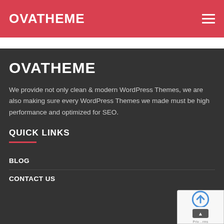OVATHEME
OVATHEME
We provide not only clean & modern WordPress Themes, we are also making sure every WordPress Themes we made must be high performance and optimized for SEO.
QUICK LINKS
BLOG
CONTACT US